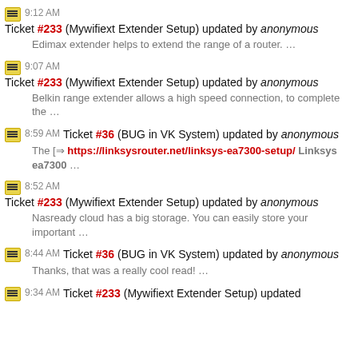9:12 AM Ticket #233 (Mywifiext Extender Setup) updated by anonymous
Edimax extender helps to extend the range of a router. …
9:07 AM Ticket #233 (Mywifiext Extender Setup) updated by anonymous
Belkin range extender allows a high speed connection, to complete the …
8:59 AM Ticket #36 (BUG in VK System) updated by anonymous
The [⇒ https://linksysrouter.net/linksys-ea7300-setup/ Linksys ea7300 …
8:52 AM Ticket #233 (Mywifiext Extender Setup) updated by anonymous
Nasready cloud has a big storage. You can easily store your important …
8:44 AM Ticket #36 (BUG in VK System) updated by anonymous
Thanks, that was a really cool read! …
9:34 AM Ticket #233 (Mywifiext Extender Setup) updated